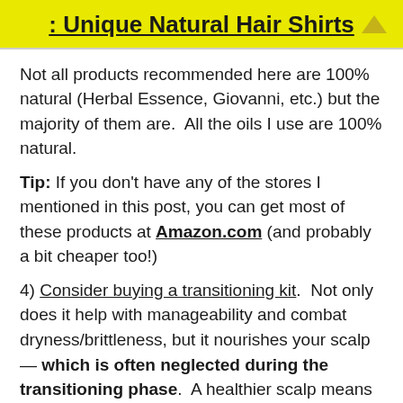: Unique Natural Hair Shirts
Not all products recommended here are 100% natural (Herbal Essence, Giovanni, etc.) but the majority of them are.  All the oils I use are 100% natural.
Tip: If you don't have any of the stores I mentioned in this post, you can get most of these products at Amazon.com (and probably a bit cheaper too!)
4) Consider buying a transitioning kit.  Not only does it help with manageability and combat dryness/brittleness, but it nourishes your scalp — which is often neglected during the transitioning phase.  A healthier scalp means healthier new